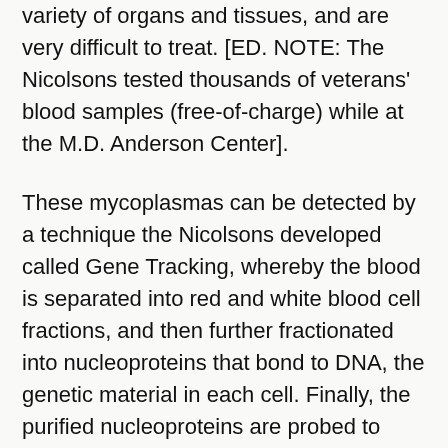variety of organs and tissues, and are very difficult to treat. [ED. NOTE: The Nicolsons tested thousands of veterans' blood samples (free-of-charge) while at the M.D. Anderson Center].
These mycoplasmas can be detected by a technique the Nicolsons developed called Gene Tracking, whereby the blood is separated into red and white blood cell fractions, and then further fractionated into nucleoproteins that bond to DNA, the genetic material in each cell. Finally, the purified nucleoproteins are probed to determine the presence of specific mycoplasma gene sequences. [ED. NOTE: Obviously this is no ordinary blood test and can only be understood or done by a small handful of pathologists or microbiologists in